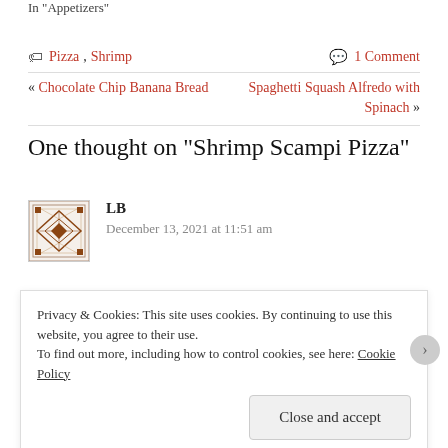In "Appetizers"
Pizza, Shrimp	1 Comment
« Chocolate Chip Banana Bread	Spaghetti Squash Alfredo with Spinach »
One thought on “Shrimp Scampi Pizza”
LB
December 13, 2021 at 11:51 am
Privacy & Cookies: This site uses cookies. By continuing to use this website, you agree to their use.
To find out more, including how to control cookies, see here: Cookie Policy